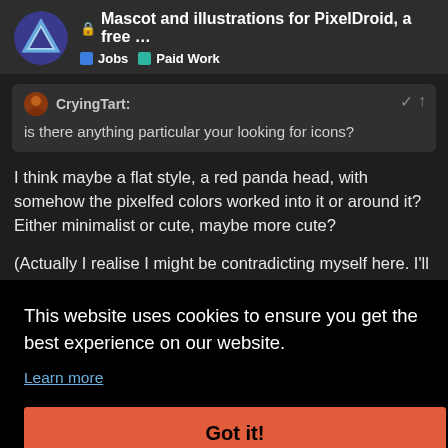Mascot and illustrations for PixelDroid, a free ... | Jobs | Paid Work
CryingTart: is there anything particular your looking for icons?
I think maybe a flat style, a red panda head, with somehow the pixelfed colors worked into it or around it? Either minimalist or cute, maybe more cute?
(Actually I realise I might be contradicting myself here. I'll think about it)
This website uses cookies to ensure you get the best experience on our website.
Learn more
Got it!